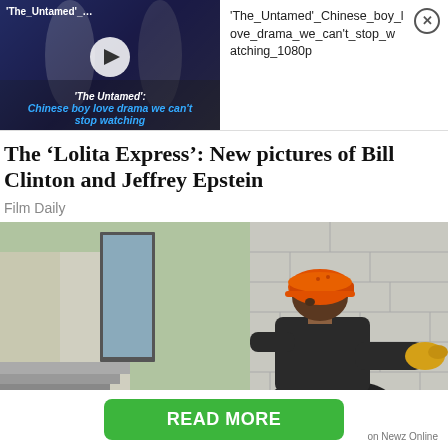[Figure (screenshot): Video thumbnail for 'The Untamed': Chinese boy love drama we can't stop watching, with play button overlay]
'The_Untamed'_Chinese_boy_love_drama_we_can't_stop_watching_1080p
The ‘Lolita Express’: New pictures of Bill Clinton and Jeffrey Epstein
Film Daily
[Figure (photo): Construction worker wearing an orange hard hat and yellow gloves, leaning against a grey brick/concrete block wall outdoors]
READ MORE
on Newz Online